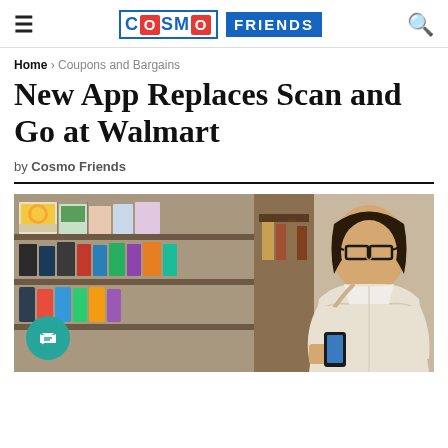COSMO FRIENDS
Home > Coupons and Bargains
New App Replaces Scan and Go at Walmart
by Cosmo Friends
[Figure (photo): Woman with glasses scanning a product with her phone in a grocery store aisle, surrounded by shelves of packaged goods.]